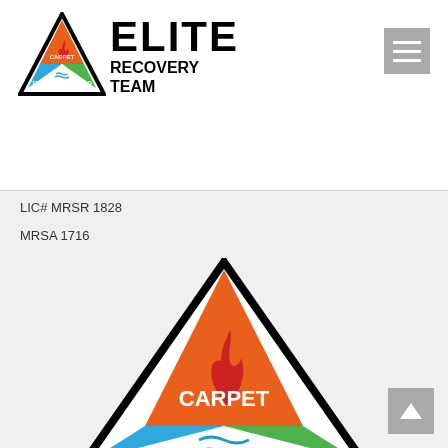[Figure (logo): Elite Carpet Recovery Team logo: triangle divided into three colored sections (orange-CARPET, blue-FLOOD, green-MOLD) with flame and water droplet icons in center, black triangle outline]
LIC# MRSR 1828
MRSA 1716
[Figure (logo): Large Elite Carpet Recovery Team logo triangle showing orange CARPET section at top, blue FLOOD section at bottom left, green MOLD section at bottom right, with flame and water icons in white center]
[Figure (other): Hamburger menu button (three horizontal bars) in gray square, top right]